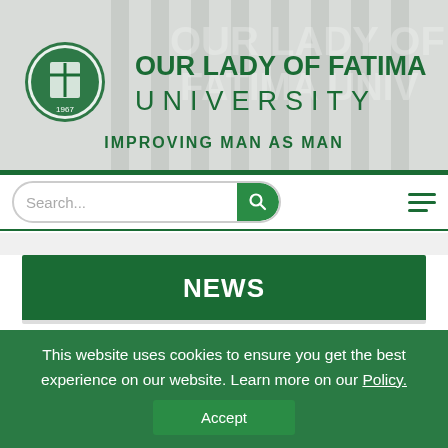[Figure (logo): Our Lady of Fatima University header banner with university seal/shield logo, university name in dark green, and tagline 'IMPROVING MAN AS MAN']
Search...
NEWS
This website uses cookies to ensure you get the best experience on our website. Learn more on our Policy.
Accept